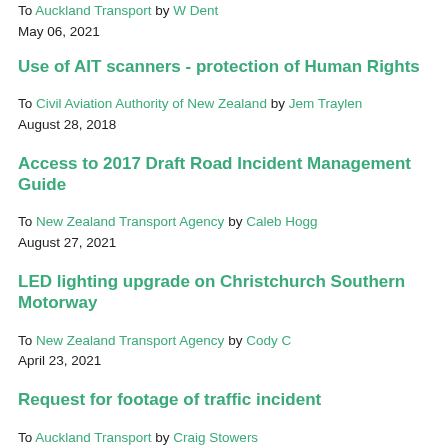To Auckland Transport by W Dent
May 06, 2021
Use of AIT scanners - protection of Human Rights
To Civil Aviation Authority of New Zealand by Jem Traylen
August 28, 2018
Access to 2017 Draft Road Incident Management Guide
To New Zealand Transport Agency by Caleb Hogg
August 27, 2021
LED lighting upgrade on Christchurch Southern Motorway
To New Zealand Transport Agency by Cody C
April 23, 2021
Request for footage of traffic incident
To Auckland Transport by Craig Stowers
February 11, 2020